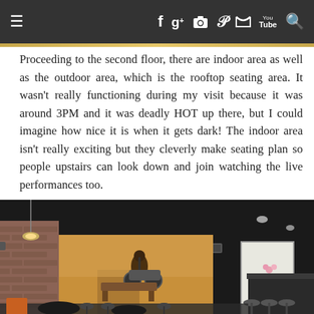Navigation bar with menu, social icons (Facebook, Google+, Instagram, Pinterest, Twitter, YouTube) and search
Proceeding to the second floor, there are indoor area as well as the outdoor area, which is the rooftop seating area. It wasn't really functioning during my visit because it was around 3PM and it was deadly HOT up there, but I could imagine how nice it is when it gets dark! The indoor area isn't really exciting but they cleverly make seating plan so people upstairs can look down and join watching the live performances too.
[Figure (photo): Interior photo of a restaurant/bar showing a dark ceiling, brick walls, a large mural painting of a motorcyclist, bar counter on the right with stools, tables and chairs, and pink flowers.]